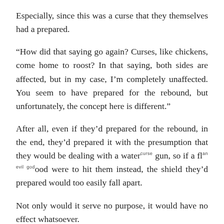Especially, since this was a curse that they themselves had a prepared.
“How did that saying go again? Curses, like chickens, come home to roost? In that saying, both sides are affected, but in my case, I’m completely unaffected. You seem to have prepared for the rebound, but unfortunately, the concept here is different.”
After all, even if they’d prepared for the rebound, in the end, they’d prepared it with the presumption that they would be dealing with a water [curse] gun, so if a flood [an evil god] were to hit them instead, the shield they’d prepared would too easily fall apart.
Not only would it serve no purpose, it would have no effect whatsoever.